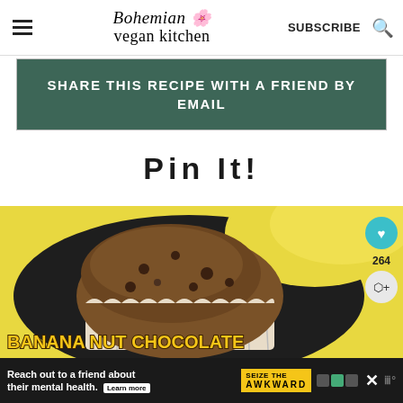Bohemian vegan kitchen — SUBSCRIBE
SHARE THIS RECIPE WITH A FRIEND BY EMAIL
Pin It!
[Figure (photo): Photo of a banana nut chocolate muffin on a dark plate with a yellow background, overlaid with text 'BANANA NUT CHOCOLATE' and social sharing buttons (heart icon, 264 count, share icon). Bottom shows an advertisement banner: 'Reach out to a friend about their mental health. Learn more | SEIZE THE AWKWARD']
Reach out to a friend about their mental health. Learn more | SEIZE THE AWKWARD